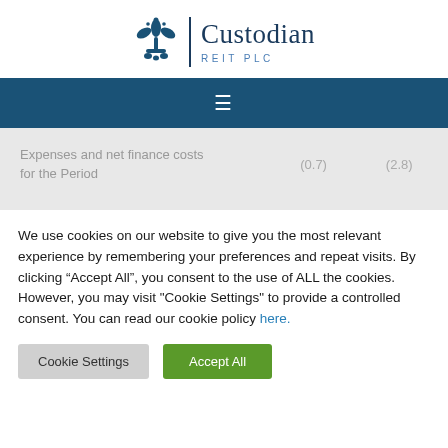[Figure (logo): Custodian REIT PLC logo with fleur-de-lis emblem, vertical divider, and text 'Custodian REIT PLC']
| Expenses and net finance costs for the Period | (0.7) | (2.8) |
We use cookies on our website to give you the most relevant experience by remembering your preferences and repeat visits. By clicking “Accept All”, you consent to the use of ALL the cookies. However, you may visit "Cookie Settings" to provide a controlled consent. You can read our cookie policy here.